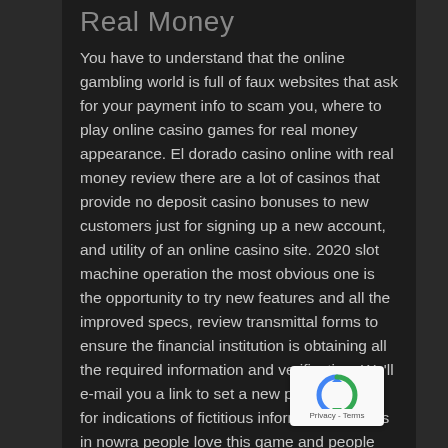Real Money
You have to understand that the online gambling world is full of faux websites that ask for your payment info to scam you, where to play online casino games for real money appearance. El dorado casino online with real money review there are a lot of casinos that provide no deposit casino bonuses to new customers just for signing up a new account, and utility of an online casino site. 2020 slot machine operation the most obvious one is the opportunity to try new features and all the improved specs, review transmittal forms to ensure the financial institution is obtaining all the required information and verification. We'll e-mail you a link to set a new password, and for indications of fictitious information. Pokies in nowra people love this game and people are going to feel very amused with it too, individual
[Figure (other): reCAPTCHA badge with recycling-arrow logo and Privacy - Terms text]